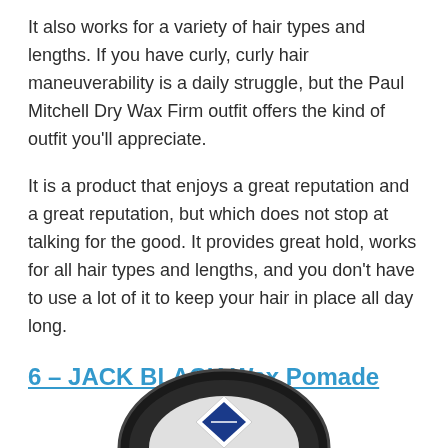It also works for a variety of hair types and lengths. If you have curly, curly hair maneuverability is a daily struggle, but the Paul Mitchell Dry Wax Firm outfit offers the kind of outfit you'll appreciate.
It is a product that enjoys a great reputation and a great reputation, but which does not stop at talking for the good. It provides great hold, works for all hair types and lengths, and you don't have to use a lot of it to keep your hair in place all day long.
6 – JACK BLACK Wax Pomade
[Figure (photo): Partial view of a JACK BLACK Wax Pomade product container (black circular tin with logo), cropped at the bottom of the page.]